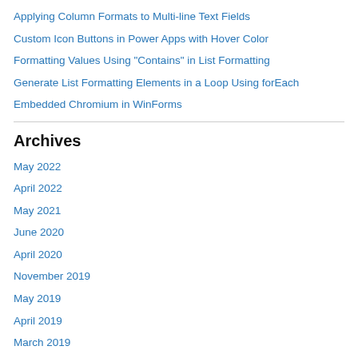Applying Column Formats to Multi-line Text Fields
Custom Icon Buttons in Power Apps with Hover Color
Formatting Values Using "Contains" in List Formatting
Generate List Formatting Elements in a Loop Using forEach
Embedded Chromium in WinForms
Archives
May 2022
April 2022
May 2021
June 2020
April 2020
November 2019
May 2019
April 2019
March 2019
February 2019
January 2019